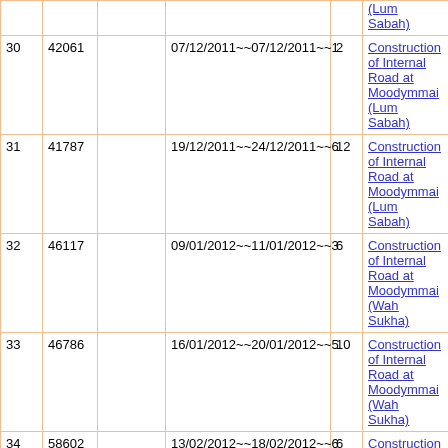|  |  |  |  |  |  |
| --- | --- | --- | --- | --- | --- |
| 30 | 42061 |  | 07/12/2011~~07/12/2011~~1 | 2 | Construction of Internal Road at Moodymmai (Lum Sabah) |
| 31 | 41787 |  | 19/12/2011~~24/12/2011~~6 | 12 | Construction of Internal Road at Moodymmai (Lum Sabah) |
| 32 | 46117 |  | 09/01/2012~~11/01/2012~~3 | 6 | Construction of Internal Road at Moodymmai (Wah Sukha) |
| 33 | 46786 |  | 16/01/2012~~20/01/2012~~5 | 10 | Construction of Internal Road at Moodymmai (Wah Sukha) |
| 34 | 58602 |  | 13/02/2012~~18/02/2012~~6 | 6 | Construction of Internal Road at Moodymmai (Wah Sukha) |
| 35 | 58800 | Mulsingh Dkhar | 20/02/2012~~25/02/2012~~6 | 6 | Construction of Internal |